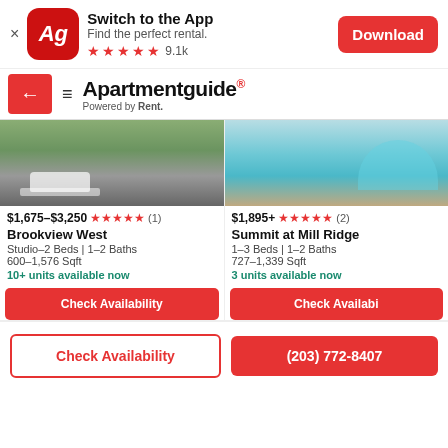Switch to the App – Find the perfect rental. ★★★★★ 9.1k – Download
ApartmentGuide® Powered by Rent.
[Figure (screenshot): Two apartment listing cards with photos. Left: Brookview West building exterior with car, right: Summit at Mill Ridge pool.]
$1,675–$3,250 ★★★★★ (1)
Brookview West
Studio–2 Beds | 1–2 Baths
600–1,576 Sqft
10+ units available now
$1,895+ ★★★★★ (2)
Summit at Mill Ridge
1–3 Beds | 1–2 Baths
727–1,339 Sqft
3 units available now
Check Availability
Check Availabi
Check Availability
(203) 772-8407